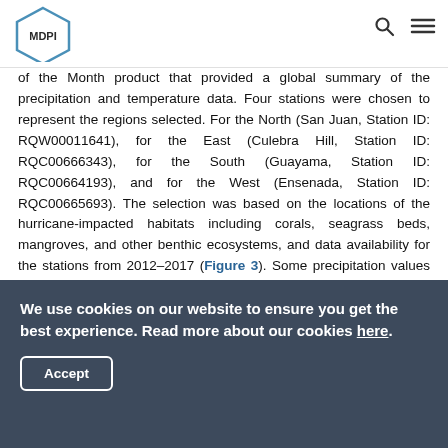MDPI
of the Month product that provided a global summary of the precipitation and temperature data. Four stations were chosen to represent the regions selected. For the North (San Juan, Station ID: RQW00011641), for the East (Culebra Hill, Station ID: RQC00666343), for the South (Guayama, Station ID: RQC00664193), and for the West (Ensenada, Station ID: RQC00665693). The selection was based on the locations of the hurricane-impacted habitats including corals, seagrass beds, mangroves, and other benthic ecosystems, and data availability for the stations from 2012–2017 (Figure 3). Some precipitation values for 2013 were absent for Culebra. For any absent data, the monthly average for 2012 to 2016 was calculated excluding the missing data points. Precipitation data were then calculated
We use cookies on our website to ensure you get the best experience. Read more about our cookies here.
Accept